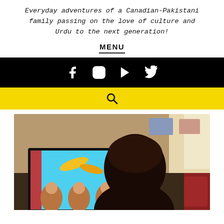Everyday adventures of a Canadian-Pakistani family passing on the love of culture and Urdu to the next generation!
MENU
[Figure (screenshot): Black navigation bar with white social media icons: Facebook, Instagram, YouTube, Twitter]
[Figure (screenshot): Yellow search bar with a search magnifying glass icon]
[Figure (photo): Child viewed from behind watching a colorful TV show on a large screen in a living room setting]